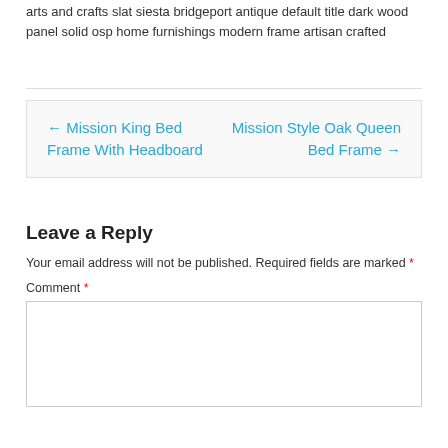arts and crafts slat siesta bridgeport antique default title dark wood panel solid osp home furnishings modern frame artisan crafted
← Mission King Bed Frame With Headboard
Mission Style Oak Queen Bed Frame →
Leave a Reply
Your email address will not be published. Required fields are marked *
Comment *